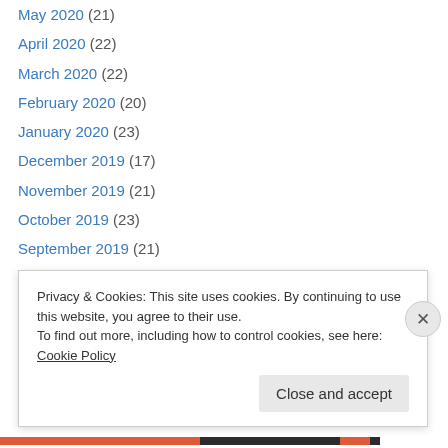May 2020 (21)
April 2020 (22)
March 2020 (22)
February 2020 (20)
January 2020 (23)
December 2019 (17)
November 2019 (21)
October 2019 (23)
September 2019 (21)
August 2019 (22)
July 2019 (23)
June 2019 (20)
May 2019 (22)
Privacy & Cookies: This site uses cookies. By continuing to use this website, you agree to their use. To find out more, including how to control cookies, see here: Cookie Policy
Close and accept